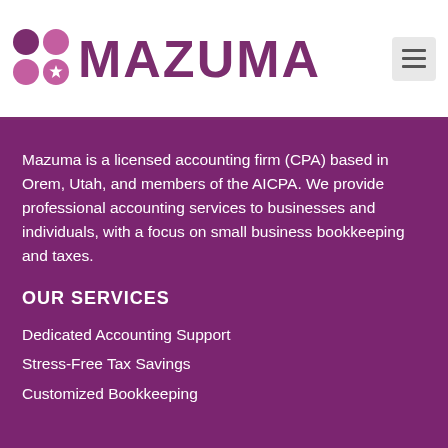[Figure (logo): Mazuma logo with purple dot grid icon and MAZUMA wordmark in purple]
Mazuma is a licensed accounting firm (CPA) based in Orem, Utah, and members of the AICPA. We provide professional accounting services to businesses and individuals, with a focus on small business bookkeeping and taxes.
OUR SERVICES
Dedicated Accounting Support
Stress-Free Tax Savings
Customized Bookkeeping